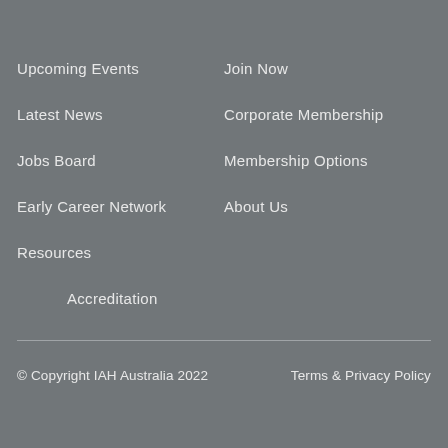Upcoming Events
Latest News
Jobs Board
Early Career Network
Resources
Accreditation
Join Now
Corporate Membership
Membership Options
About Us
© Copyright IAH Australia 2022    Terms & Privacy Policy